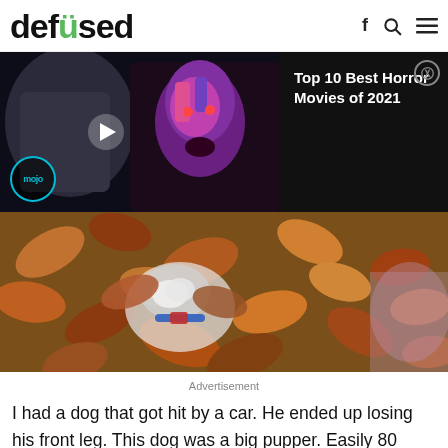defused
[Figure (screenshot): Video ad overlay showing 'Top 10 Best Horror Movies of 2021' with WatchMojo thumbnail featuring horror movie characters and a play button, on dark background]
[Figure (photo): Dog partially hidden under autumn leaves, wearing a collar, photographed from above]
Advertisement
I had a dog that got hit by a car. He ended up losing his front leg. This dog was a big pupper. Easily 80 pounds. Once he came home, I could not carry him, but my husband could. The dog HATED going potty in the house, so he quickly learned to walk outside with me.